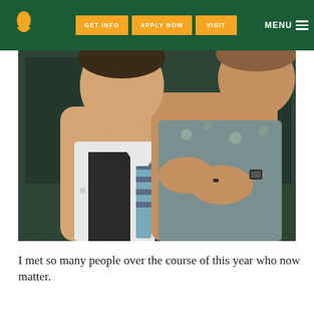GET INFO | APPLY NOW | VISIT | MENU
[Figure (photo): Two people in formal attire, one adjusting the other's tie/collar. Indoor setting with dark background.]
I met so many people over the course of this year who now matter.